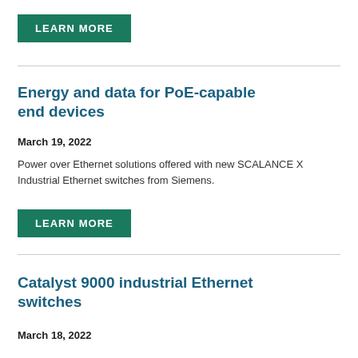LEARN MORE
Energy and data for PoE-capable end devices
March 19, 2022
Power over Ethernet solutions offered with new SCALANCE X Industrial Ethernet switches from Siemens.
LEARN MORE
Catalyst 9000 industrial Ethernet switches
March 18, 2022